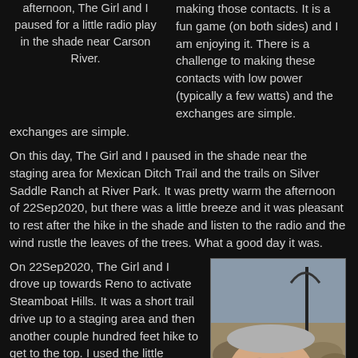afternoon, The Girl and I paused for a little radio play in the shade near Carson River.
making those contacts. It is a fun game (on both sides) and I am enjoying it. There is a challenge to making these contacts with low power (typically a few watts) and the exchanges are simple.
On this day, The Girl and I paused in the shade near the staging area for Mexican Ditch Trail and the trails on Silver Saddle Ranch at River Park. It was pretty warm the afternoon of 22Sep2020, but there was a little breeze and it was pleasant to rest after the hike in the shade and listen to the radio and the wind rustle the leaves of the trees. What a good day it was.
On 22Sep2020, The Girl and I drove up towards Reno to activate Steamboat Hills. It was a short trail drive up to a staging area and then another couple hundred feet hike to get to the top. I used the little magnetic loop antenna with my Elecraft KX2 (and no amplifier) to make quite a few contacts (more...
[Figure (photo): Photo of a man's face (selfie) with a radio antenna and rocky desert landscape in the background]
The Person with the...